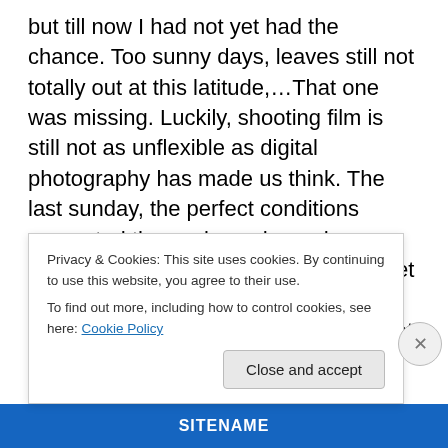but till now I had not yet had the chance. Too sunny days, leaves still not totally out at this latitude,…That one was missing. Luckily, shooting film is still not as unflexible as digital photography has made us think. The last sunday, the perfect conditions presented themselves: damp day, relatively still, all leaves out. Time to get lost into the forest again. I grabbed my large format panoramic camera and got into a nearby forest where I had selected a composition a year before. There they were, standing proud, some of the most “photogenic” beech trees of the region. I could take some long exposures of several
Privacy & Cookies: This site uses cookies. By continuing to use this website, you agree to their use.
To find out more, including how to control cookies, see here: Cookie Policy
Close and accept